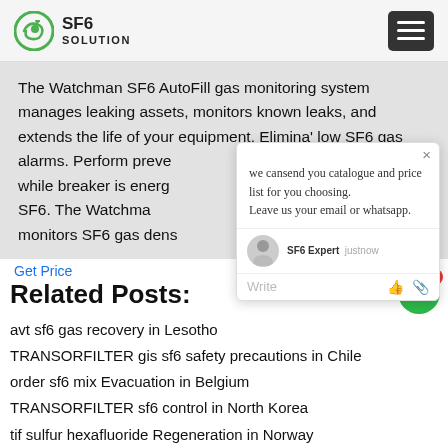SF6 SOLUTION
The Watchman SF6 AutoFill gas monitoring system manages leaking assets, monitors known leaks, and extends the life of your equipment. Elimina' low SF6 gas alarms. Perform preve maintenance while breaker is energ an manually filling SF6. The Watchman continuously monitors SF6 gas dens the amount of
we cansend you catalogue and price list for you choosing. Leave us your email or whatsapp.
SF6 Expert   justnow
Write
Get Price
Related Posts:
avt sf6 gas recovery in Lesotho
TRANSORFILTER gis sf6 safety precautions in Chile
order sf6 mix Evacuation in Belgium
TRANSORFILTER sf6 control in North Korea
tif sulfur hexafluoride Regeneration in Norway